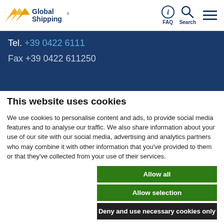[Figure (logo): Global Shipping logo with yellow wing graphic and dark blue text]
[Figure (infographic): Navigation icons: FAQ (circle-i), Search (magnifier), Menu (hamburger)]
Tel. +39 0422 6111
Fax +39 0422 611250
This website uses cookies
We use cookies to personalise content and ads, to provide social media features and to analyse our traffic. We also share information about your use of our site with our social media, advertising and analytics partners who may combine it with other information that you've provided to them or that they've collected from your use of their services.
Allow all
Allow selection
Deny and use necessary cookies only
Necessary  Preferences  Statistics  Marketing  Show details